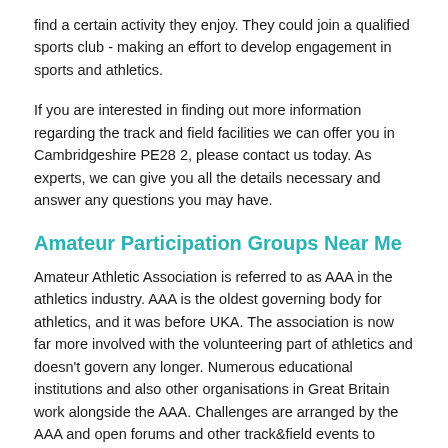find a certain activity they enjoy. They could join a qualified sports club - making an effort to develop engagement in sports and athletics.
If you are interested in finding out more information regarding the track and field facilities we can offer you in Cambridgeshire PE28 2, please contact us today. As experts, we can give you all the details necessary and answer any questions you may have.
Amateur Participation Groups Near Me
Amateur Athletic Association is referred to as AAA in the athletics industry. AAA is the oldest governing body for athletics, and it was before UKA. The association is now far more involved with the volunteering part of athletics and doesn't govern any longer. Numerous educational institutions and also other organisations in Great Britain work alongside the AAA. Challenges are arranged by the AAA and open forums and other track&field events to develop young people into sports athletes. These kinds of challenges assist in developing youngsters for upcoming athletics careers.